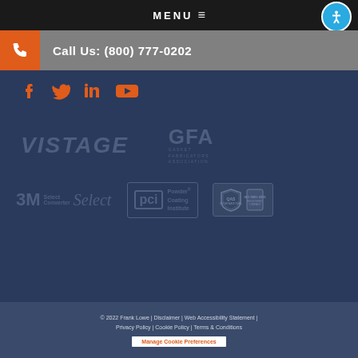MENU
Call Us: (800) 777-0202
[Figure (other): Social media icons: Facebook, Twitter, LinkedIn, YouTube in orange]
[Figure (logo): VISTAGE logo]
[Figure (logo): GFA Gasket Fabricators Association logo]
[Figure (logo): 3M Select Converter logo]
[Figure (logo): PCI Powder Coating Institute logo]
[Figure (logo): QAS International ISO 9001:2015 Registered Company logo]
© 2022 Frank Lowe | Disclaimer | Web Accessibility Statement | Privacy Policy | Cookie Policy | Terms & Conditions
Manage Cookie Preferences